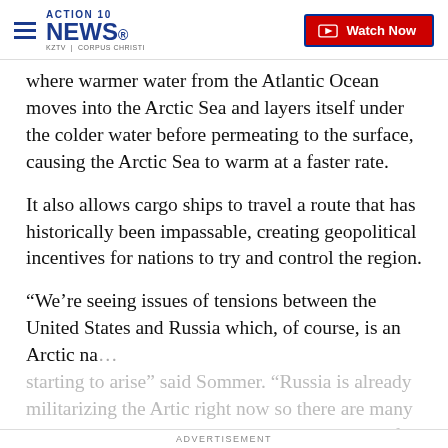ACTION 10 NEWS KZTV | CORPUS CHRISTI — Watch Now
where warmer water from the Atlantic Ocean moves into the Arctic Sea and layers itself under the colder water before permeating to the surface, causing the Arctic Sea to warm at a faster rate.
It also allows cargo ships to travel a route that has historically been impassable, creating geopolitical incentives for nations to try and control the region.
“We’re seeing issues of tensions between the United States and Russia which, of course, is an Arctic na… starting to arise” said Sommer. “Russia is already militarizing the Artic right now so there are many things that are occurring at that level because of the
ADVERTISEMENT